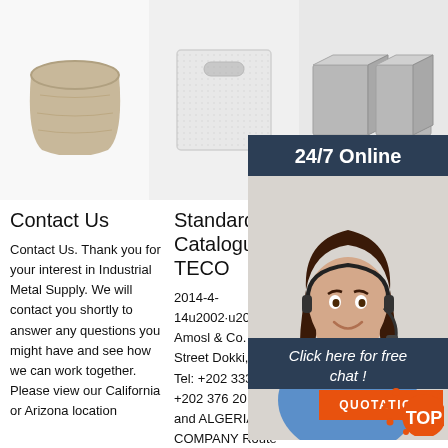[Figure (photo): Three product images: a peat/fiber pot on left, a white foam/paper bag in center, and two gray foam/concrete blocks on right]
[Figure (infographic): 24/7 Online chat widget with customer service agent photo, 'Click here for free chat!' text and orange QUOTATION button]
Contact Us
Contact Us. Thank you for your interest in Industrial Metal Supply. We will contact you shortly to answer any questions you might have and see how we can work together. Please view our California or Arizona location
Standard Motor Catalogue - TECO
2014-4-14u2002·u2002EGYPT Amosl & Co. 38 Mossadak Street Dokki, Giza, Egypt Tel: +202 333 79 744 Fax: +202 376 20 307 TUNISIA and ALGERIA AFRICA COMPANY Route
Ag Pa… Direc…
2.5' Gl… Shaft) $74.70 Replacem… Flap. $… $112.08 Flex Connector & Hook Pin - Flex Panels (HiQual) $2165 $21.65.